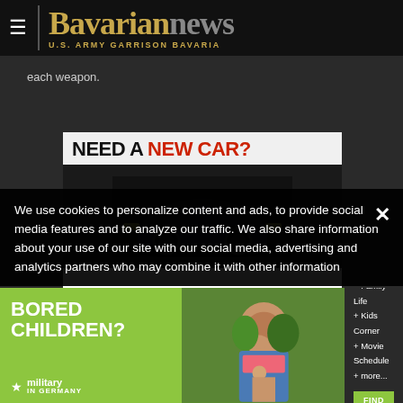Bavarian news — U.S. Army Garrison Bavaria
each weapon.
[Figure (illustration): Advertisement banner: NEED A NEW CAR? with image of a car]
We use cookies to personalize content and ads, to provide social media features and to analyze our traffic. We also share information about your use of our site with our social media, advertising and analytics partners who may combine it with other information...
[Figure (illustration): Military in Germany advertisement with child photo: BORED CHILDREN? with events list and FIND OUT MORE button]